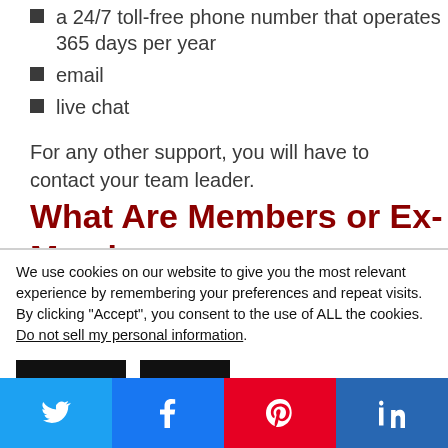a 24/7 toll-free phone number that operates 365 days per year
email
live chat
For any other support, you will have to contact your team leader.
What Are Members or Ex-Members
We use cookies on our website to give you the most relevant experience by remembering your preferences and repeat visits. By clicking “Accept”, you consent to the use of ALL the cookies.
Do not sell my personal information.